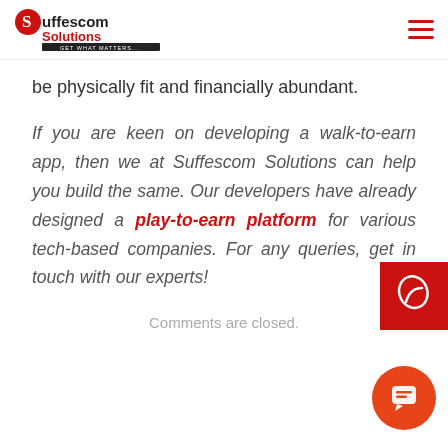Suffescom Solutions
be physically fit and financially abundant.
If you are keen on developing a walk-to-earn app, then we at Suffescom Solutions can help you build the same. Our developers have already designed a play-to-earn platform for various tech-based companies. For any queries, get in touch with our experts!
Comments are closed.